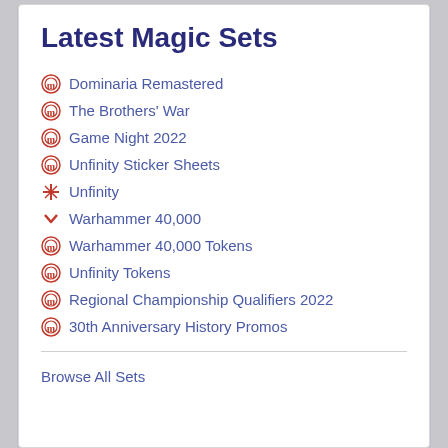Latest Magic Sets
Dominaria Remastered
The Brothers' War
Game Night 2022
Unfinity Sticker Sheets
Unfinity
Warhammer 40,000
Warhammer 40,000 Tokens
Unfinity Tokens
Regional Championship Qualifiers 2022
30th Anniversary History Promos
Browse All Sets